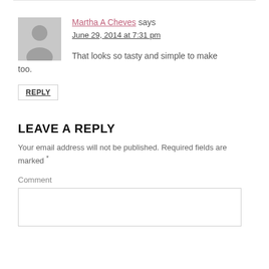[Figure (illustration): Horizontal rule separator line at top of page]
Martha A Cheves says
June 29, 2014 at 7:31 pm
That looks so tasty and simple to make too.
REPLY
LEAVE A REPLY
Your email address will not be published. Required fields are marked *
Comment